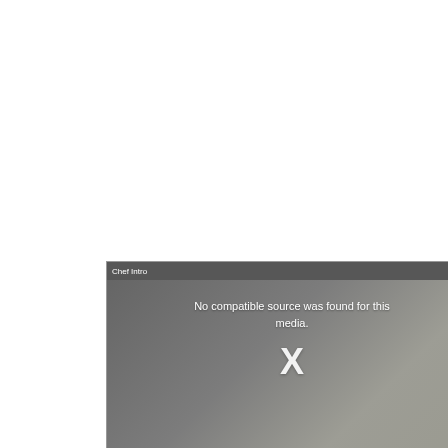[Figure (screenshot): A video player screenshot showing a kitchen scene with a chef in a dark apron, overlaid with a gray semi-transparent error state. The video title bar reads 'Chef Intro' with a close button (circled X) in the top right. The error message reads 'No compatible source was found for this media.' with a large X mark below it.]